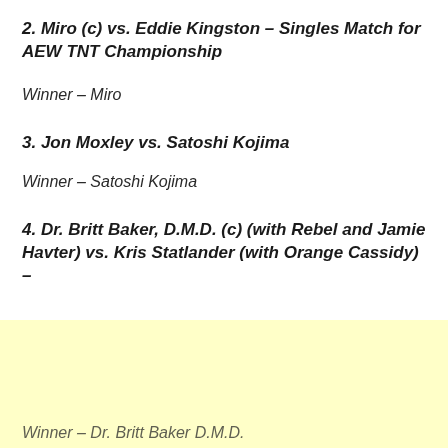2. Miro (c) vs. Eddie Kingston – Singles Match for AEW TNT Championship
Winner – Miro
3. Jon Moxley vs. Satoshi Kojima
Winner – Satoshi Kojima
4. Dr. Britt Baker, D.M.D. (c) (with Rebel and Jamie Havter) vs. Kris Statlander (with Orange Cassidy) –
Winner – Dr. Britt Baker D.M.D.